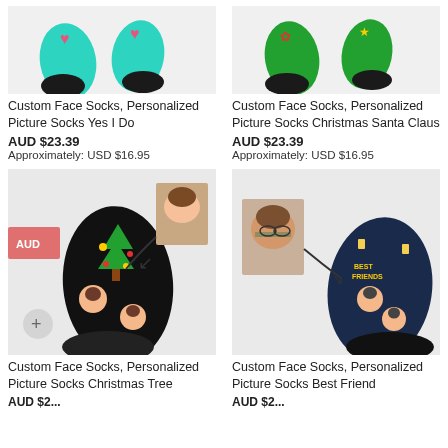[Figure (photo): Custom Face Socks - Personalized Picture Socks Yes I Do - teal/pink socks product image]
Custom Face Socks, Personalized Picture Socks Yes I Do
AUD $23.39
Approximately: USD $16.95
[Figure (photo): Custom Face Socks - Personalized Picture Socks Christmas Santa Claus - green socks product image]
Custom Face Socks, Personalized Picture Socks Christmas Santa Claus
AUD $23.39
Approximately: USD $16.95
[Figure (photo): Custom Face Socks - Personalized Picture Socks Christmas Tree - black socks with Christmas tree pattern and face photos, with example face photo inset]
Custom Face Socks, Personalized Picture Socks Christmas Tree
[Figure (photo): Custom Face Socks - Personalized Picture Socks Best Friend - dark navy socks with face photos and best friend text, with example face photo inset]
Custom Face Socks, Personalized Picture Socks Best Friend